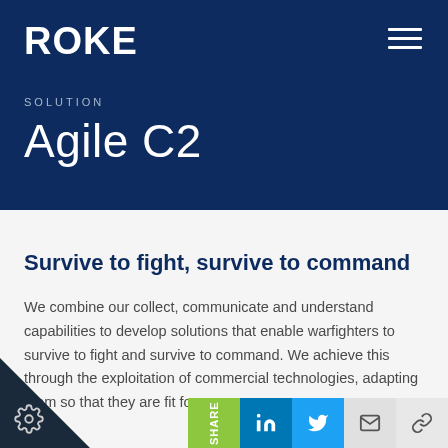ROKE
SOLUTION
Agile C2
Survive to fight, survive to command
We combine our collect, communicate and understand capabilities to develop solutions that enable warfighters to survive to fight and survive to command. We achieve this through the exploitation of commercial technologies, adapting them so that they are fit fo